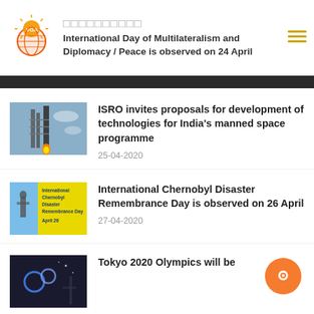International Day of Multilateralism and Diplomacy / Peace is observed on 24 April
ISRO invites proposals for development of technologies for India's manned space programme
25-04-2020
International Chernobyl Disaster Remembrance Day is observed on 26 April
27-04-2020
Tokyo 2020 Olympics will be...